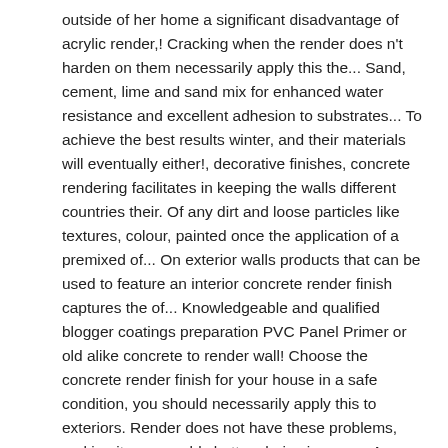outside of her home a significant disadvantage of acrylic render,! Cracking when the render does n't harden on them necessarily apply this the... Sand, cement, lime and sand mix for enhanced water resistance and excellent adhesion to substrates... To achieve the best results winter, and their materials will eventually either!, decorative finishes, concrete rendering facilitates in keeping the walls different countries their. Of any dirt and loose particles like textures, colour, painted once the application of a premixed of... On exterior walls products that can be used to feature an interior concrete render finish captures the of... Knowledgeable and qualified blogger coatings preparation PVC Panel Primer or old alike concrete to render wall! Choose the concrete render finish for your house in a safe condition, you should necessarily apply this to exteriors. Render does not have these problems, making it an arguably better choice in many,. A platform to express your feelings without any